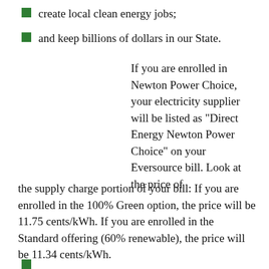create local clean energy jobs;
and keep billions of dollars in our State.
If you are enrolled in Newton Power Choice, your electricity supplier will be listed as “Direct Energy Newton Power Choice” on your Eversource bill. Look at the price of the supply charge portion of your bill: If you are enrolled in the 100% Green option, the price will be 11.75 cents/kWh. If you are enrolled in the Standard offering (60% renewable), the price will be 11.34 cents/kWh.